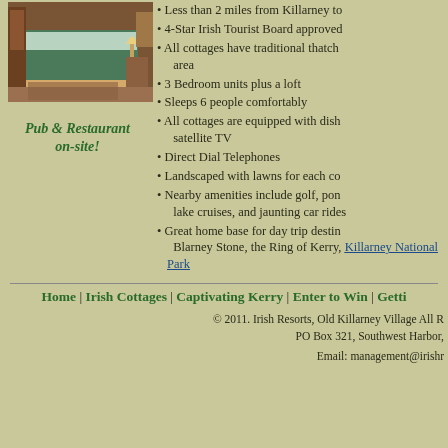[Figure (photo): Interior photo of a bedroom with a green-made bed and wooden furniture]
Pub & Restaurant on-site!
Less than 2 miles from Killarney to
4-Star Irish Tourist Board approved
All cottages have traditional thatch area
3 Bedroom units plus a loft
Sleeps 6 people comfortably
All cottages are equipped with dish satellite TV
Direct Dial Telephones
Landscaped with lawns for each co
Nearby amenities include golf, pon lake cruises, and jaunting car rides
Great home base for day trip destin Blarney Stone, the Ring of Kerry, Killarney National Park
Home | Irish Cottages | Captivating Kerry | Enter to Win | Getti
© 2011. Irish Resorts, Old Killarney Village All R PO Box 321, Southwest Harbor,
Email: management@irishr